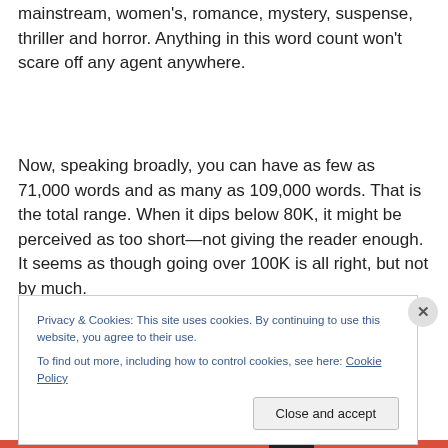mainstream, women's, romance, mystery, suspense, thriller and horror. Anything in this word count won't scare off any agent anywhere.
Now, speaking broadly, you can have as few as 71,000 words and as many as 109,000 words. That is the total range. When it dips below 80K, it might be perceived as too short—not giving the reader enough. It seems as though going over 100K is all right, but not by much.
Privacy & Cookies: This site uses cookies. By continuing to use this website, you agree to their use.
To find out more, including how to control cookies, see here: Cookie Policy